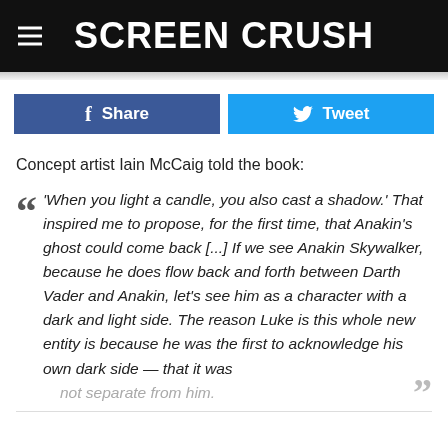Screen Crush
Share  Tweet
Concept artist Iain McCaig told the book:
‘When you light a candle, you also cast a shadow.’ That inspired me to propose, for the first time, that Anakin’s ghost could come back [...] If we see Anakin Skywalker, because he does flow back and forth between Darth Vader and Anakin, let’s see him as a character with a dark and light side. The reason Luke is this whole new entity is because he was the first to acknowledge his own dark side — that it was not separate from him.